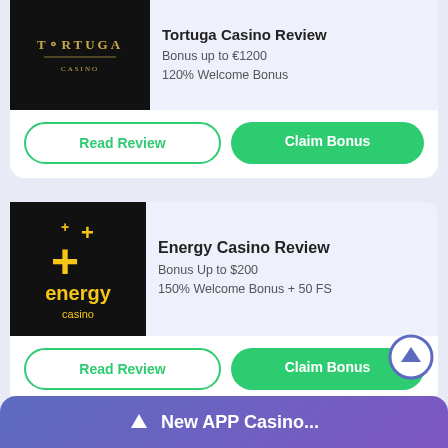[Figure (screenshot): Tortuga Casino logo on black background]
Tortuga Casino Review
Bonus up to €1200
120% Welcome Bonus
Read Review
Claim Bonus
[Figure (screenshot): Energy Casino logo on black background with yellow plus signs]
Energy Casino Review
Bonus Up to $200
150% Welcome Bonus + 50 FS
Read Review
Claim Bonus
New APP Casino...